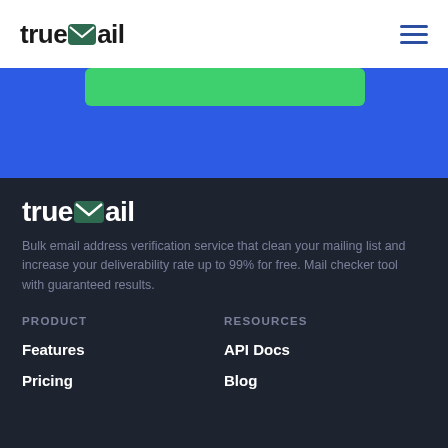trueMail
[Figure (screenshot): Blue hero section with a green button/bar near the top]
[Figure (logo): trueMail footer logo in white]
Bulk email address verification service that clean your mailing list and increase your deliverability rate up to 99% for free. Mail checker tool with guaranteed results.
PRODUCT
RESOURCES
Features
API Docs
Pricing
Blog